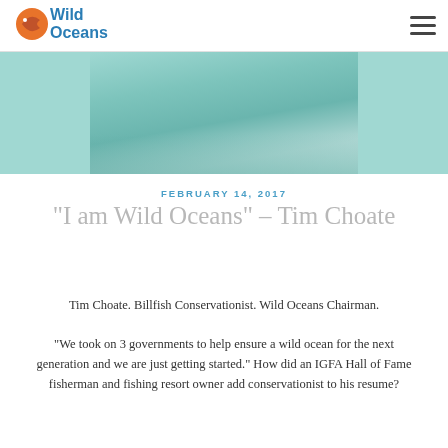Wild Oceans
[Figure (photo): Photo of Tim Choate wearing a teal/turquoise fishing shirt]
FEBRUARY 14, 2017
“I am Wild Oceans” – Tim Choate
Tim Choate. Billfish Conservationist. Wild Oceans Chairman.
“We took on 3 governments to help ensure a wild ocean for the next generation and we are just getting started.” How did an IGFA Hall of Fame fisherman and fishing resort owner add conservationist to his resume?